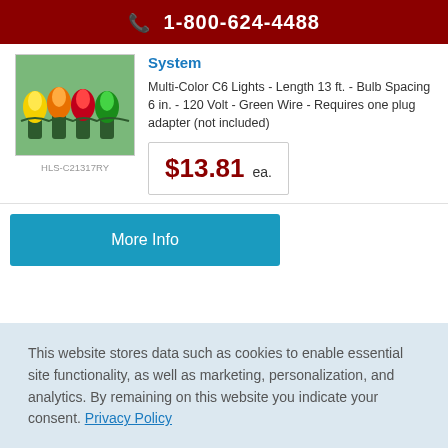1-800-624-4488
[Figure (photo): Multi-color C6 Christmas light bulbs on green wire strands]
HLS-C21317RY
System
Multi-Color C6 Lights - Length 13 ft. - Bulb Spacing 6 in. - 120 Volt - Green Wire - Requires one plug adapter (not included)
$13.81 ea.
More Info
This website stores data such as cookies to enable essential site functionality, as well as marketing, personalization, and analytics. By remaining on this website you indicate your consent. Privacy Policy